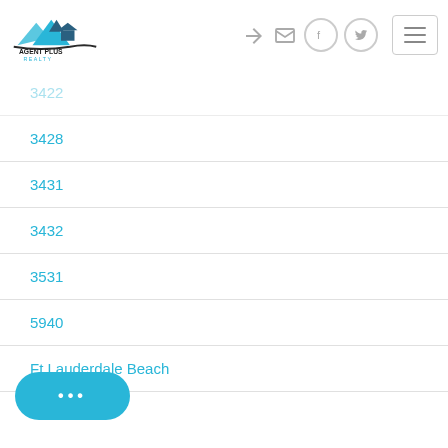Agent Plus Realty - navigation header with logo and icons
3422
3428
3431
3432
3531
5940
Ft Lauderdale Beach